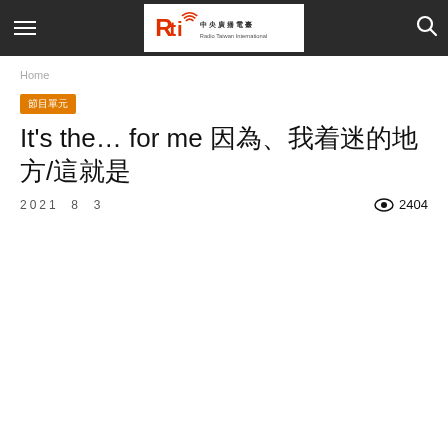Rti 中央廣播電臺 Radio Taiwan International
Home
節目單元
It's the… for me 這就是讓我著迷的地方/這就是
2021  8  3  👁 2404